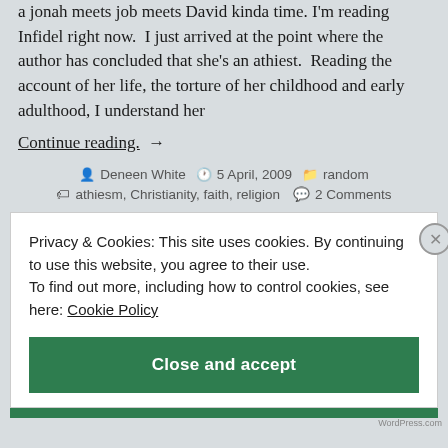a jonah meets job meets David kinda time. I'm reading Infidel right now. I just arrived at the point where the author has concluded that she's an athiest. Reading the account of her life, the torture of her childhood and early adulthood, I understand her
Continue reading. →
Deneen White  5 April, 2009  random  athiesm, Christianity, faith, religion  2 Comments
Privacy & Cookies: This site uses cookies. By continuing to use this website, you agree to their use. To find out more, including how to control cookies, see here: Cookie Policy
Close and accept